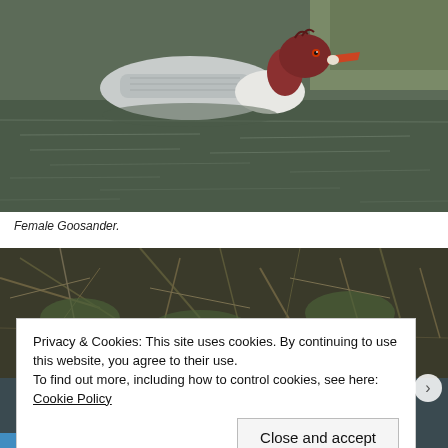[Figure (photo): Photograph of a Female Goosander duck swimming on dark water, with vegetation visible in the background. The bird has a rust-brown head, red bill, grey body, and white breast.]
Female Goosander.
[Figure (photo): Photograph of dense tangled dry vegetation and grasses along a waterway bank.]
Privacy & Cookies: This site uses cookies. By continuing to use this website, you agree to their use.
To find out more, including how to control cookies, see here: Cookie Policy
Close and accept